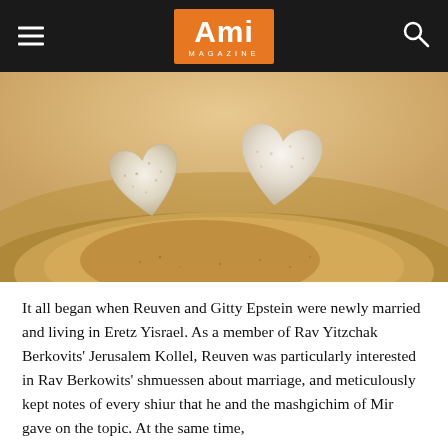Ami Magazine
[Figure (photo): Two heart-shaped white stones resting on a mound of sand, with a warm golden blurred sandy background.]
It all began when Reuven and Gitty Epstein were newly married and living in Eretz Yisrael. As a member of Rav Yitzchak Berkovits' Jerusalem Kollel, Reuven was particularly interested in Rav Berkowits' shmuessen about marriage, and meticulously kept notes of every shiur that he and the mashgichim of Mir gave on the topic. At the same time,